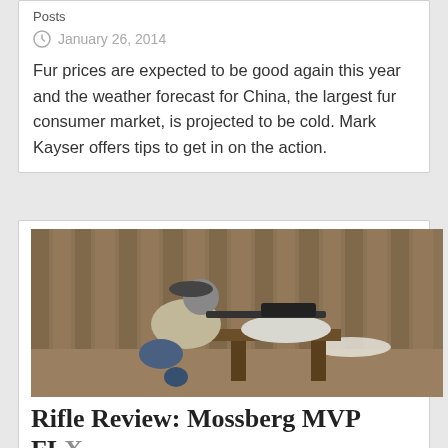Posts
January 26, 2014
Fur prices are expected to be good again this year and the weather forecast for China, the largest fur consumer market, is projected to be cold. Mark Kayser offers tips to get in on the action.
[Figure (photo): Man in grey sweater and baseball cap aiming a rifle with scope on a wooden bench rest outdoors]
Rifle Review: Mossberg MVP FLX 7.6
[Figure (infographic): ATN THOR LT Ultra Light Thermal Rifle Scope advertisement banner with SAVE $100 offer and X close button]